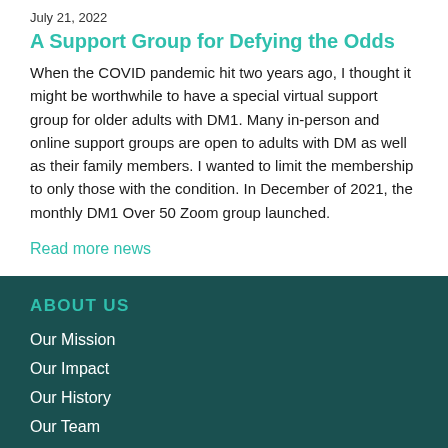July 21, 2022
A Support Group for Defying the Odds
When the COVID pandemic hit two years ago, I thought it might be worthwhile to have a special virtual support group for older adults with DM1. Many in-person and online support groups are open to adults with DM as well as their family members. I wanted to limit the membership to only those with the condition. In December of 2021, the monthly DM1 Over 50 Zoom group launched.
Read more news
ABOUT US
Our Mission
Our Impact
Our History
Our Team